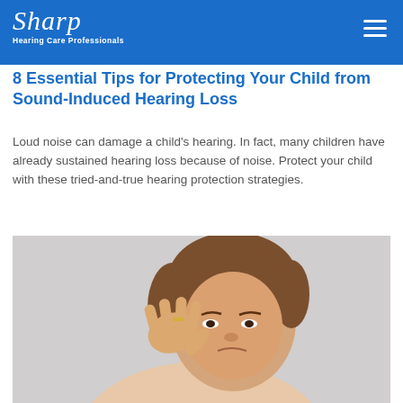Sharp Hearing Care Professionals
8 Essential Tips for Protecting Your Child from Sound-Induced Hearing Loss
Loud noise can damage a child’s hearing. In fact, many children have already sustained hearing loss because of noise. Protect your child with these tried-and-true hearing protection strategies.
[Figure (photo): Woman with short brown hair cupping her hand to her ear, appearing to strain to hear, against a grey background]